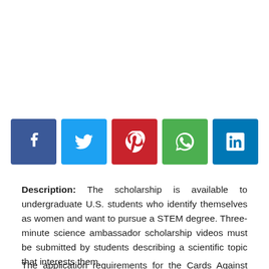[Figure (other): Row of five social media sharing buttons: Facebook (dark blue), Twitter (light blue), Pinterest (red), WhatsApp (green), LinkedIn (dark blue)]
Description: The scholarship is available to undergraduate U.S. students who identify themselves as women and want to pursue a STEM degree. Three-minute science ambassador scholarship videos must be submitted by students describing a scientific topic that interests them.
The application requirements for the Cards Against Humanity